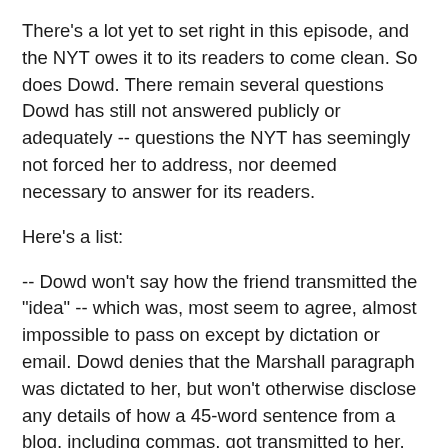There's a lot yet to set right in this episode, and the NYT owes it to its readers to come clean. So does Dowd. There remain several questions Dowd has still not answered publicly or adequately -- questions the NYT has seemingly not forced her to address, nor deemed necessary to answer for its readers.
Here's a list:
-- Dowd won't say how the friend transmitted the "idea" -- which was, most seem to agree, almost impossible to pass on except by dictation or email. Dowd denies that the Marshall paragraph was dictated to her, but won't otherwise disclose any details of how a 45-word sentence from a blog, including commas, got transmitted to her.
If the paragraph was emailed, did her "friend" cut and paste Marshall's words into an email? Or was the paragraph part of a larger email with multiple ideas, in which the friend inserted the Marshall quote? Specific answers to these questions would help her editors -- and readers, if the NYT chose to be